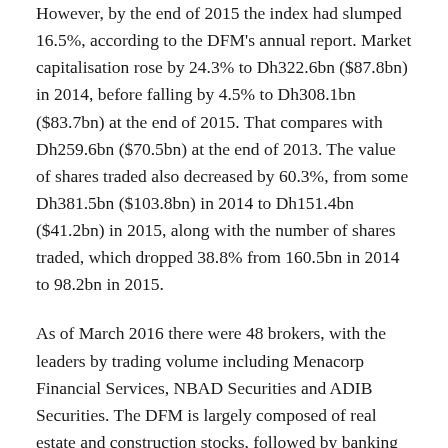However, by the end of 2015 the index had slumped 16.5%, according to the DFM's annual report. Market capitalisation rose by 24.3% to Dh322.6bn ($87.8bn) in 2014, before falling by 4.5% to Dh308.1bn ($83.7bn) at the end of 2015. That compares with Dh259.6bn ($70.5bn) at the end of 2013. The value of shares traded also decreased by 60.3%, from some Dh381.5bn ($103.8bn) in 2014 to Dh151.4bn ($41.2bn) in 2015, along with the number of shares traded, which dropped 38.8% from 160.5bn in 2014 to 98.2bn in 2015.
As of March 2016 there were 48 brokers, with the leaders by trading volume including Menacorp Financial Services, NBAD Securities and ADIB Securities. The DFM is largely composed of real estate and construction stocks, followed by banking stocks. By market capitalisation they account for 51.9% and 26.3% of the board, respectively.
Investor Composition
The market remains heavily influenced by retail investors, as institutional traders accounted for 27.4% of total traded value